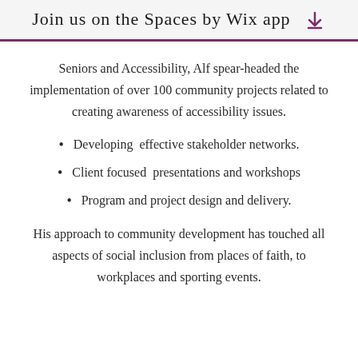Join us on the Spaces by Wix app
Seniors and Accessibility, Alf spearheaded the implementation of over 100 community projects related to creating awareness of accessibility issues.
Developing  effective stakeholder networks.
Client focused  presentations and workshops
Program and project design and delivery.
His approach to community development has touched all aspects of social inclusion from places of faith, to workplaces and sporting events.